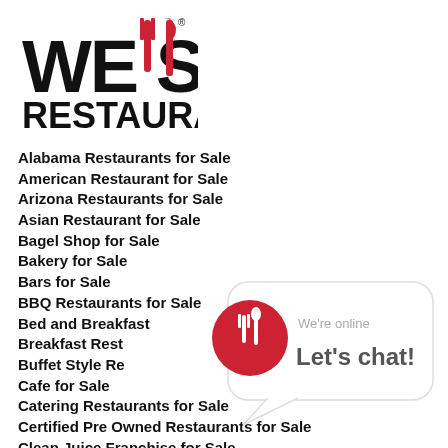[Figure (logo): We Sell Restaurants logo with fork and knife icon replacing the two L letters in SELL, red utensils on black text]
Alabama Restaurants for Sale
American Restaurant for Sale
Arizona Restaurants for Sale
Asian Restaurant for Sale
Bagel Shop for Sale
Bakery for Sale
Bars for Sale
BBQ Restaurants for Sale
Bed and Breakfast for Sale
Breakfast Restaurants for Sale
Buffet Style Restaurants for Sale
Cafe for Sale
Catering Restaurants for Sale
Certified Pre Owned Restaurants for Sale
Clean Juice Franchise for Sale
[Figure (infographic): Chat bubble widget with red circle icon containing fork and knife, text says We're online Let's chat!]